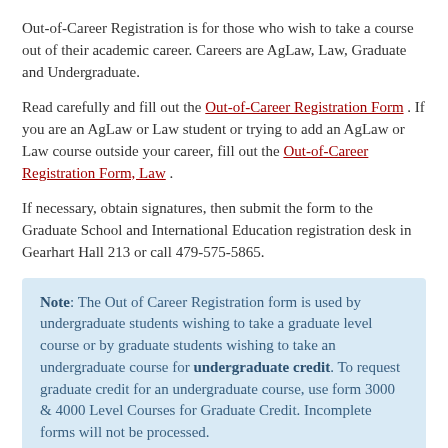Out-of-Career Registration is for those who wish to take a course out of their academic career. Careers are AgLaw, Law, Graduate and Undergraduate.
Read carefully and fill out the Out-of-Career Registration Form . If you are an AgLaw or Law student or trying to add an AgLaw or Law course outside your career, fill out the Out-of-Career Registration Form, Law .
If necessary, obtain signatures, then submit the form to the Graduate School and International Education registration desk in Gearhart Hall 213 or call 479-575-5865.
Note: The Out of Career Registration form is used by undergraduate students wishing to take a graduate level course or by graduate students wishing to take an undergraduate course for undergraduate credit. To request graduate credit for an undergraduate course, use form 3000 & 4000 Level Courses for Graduate Credit. Incomplete forms will not be processed.